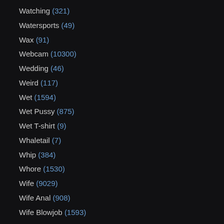Watching (321)
Watersports (49)
Wax (91)
Webcam (10300)
Wedding (46)
Weird (117)
Wet (1594)
Wet Pussy (875)
Wet T-shirt (9)
Whaletail (7)
Whip (384)
Whore (1530)
Wife (9029)
Wife Anal (908)
Wife Blowjob (1593)